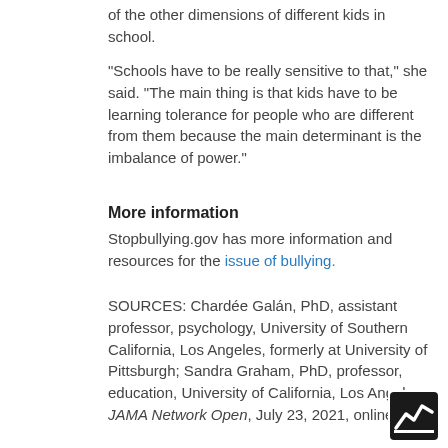of the other dimensions of different kids in school.
"Schools have to be really sensitive to that," she said. "The main thing is that kids have to be learning tolerance for people who are different from them because the main determinant is the imbalance of power."
More information
Stopbullying.gov has more information and resources for the issue of bullying.
SOURCES: Chardée Galán, PhD, assistant professor, psychology, University of Southern California, Los Angeles, formerly at University of Pittsburgh; Sandra Graham, PhD, professor, education, University of California, Los Angeles; JAMA Network Open, July 23, 2021, online
[Figure (logo): HealthDay logo — black and white stylized medical cross/chart icon]